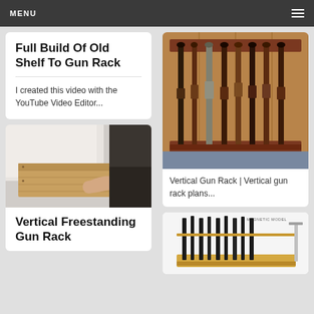MENU
Full Build Of Old Shelf To Gun Rack
I created this video with the YouTube Video Editor...
[Figure (photo): Person assembling a wooden box/shelf, hands visible working on wood joints]
Vertical Freestanding Gun Rack
[Figure (photo): Vertical wood gun rack holding multiple rifles and long guns, wooden cabinet with guns stored vertically]
Vertical Gun Rack | Vertical gun rack plans...
[Figure (photo): Magnetic model gun rack holding multiple black rifles/guns vertically in a light wood frame]